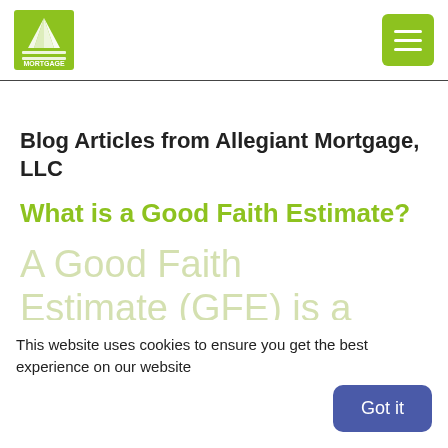[Figure (logo): Allegiant Mortgage logo with green sunburst icon and text]
Blog Articles from Allegiant Mortgage, LLC
What is a Good Faith Estimate?
A Good Faith Estimate (GFE) is a form that lists basic
This website uses cookies to ensure you get the best experience on our website